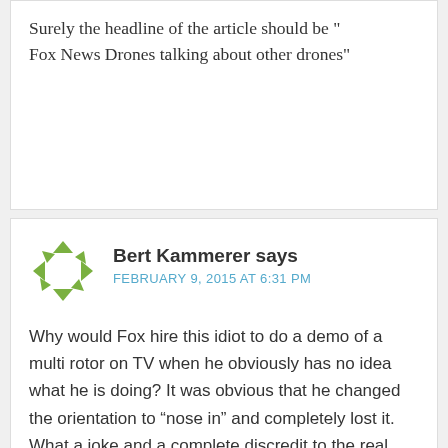Surely the headline of the article should be "Fox News Drones talking about other drones"
Bert Kammerer says
FEBRUARY 9, 2015 AT 6:31 PM
Why would Fox hire this idiot to do a demo of a multi rotor on TV when he obviously has no idea what he is doing? It was obvious that he changed the orientation to “nose in” and completely lost it. What a joke and a complete discredit to the real professionals. Fox, learn who you hire to come on your show to do a demo before you do!!!